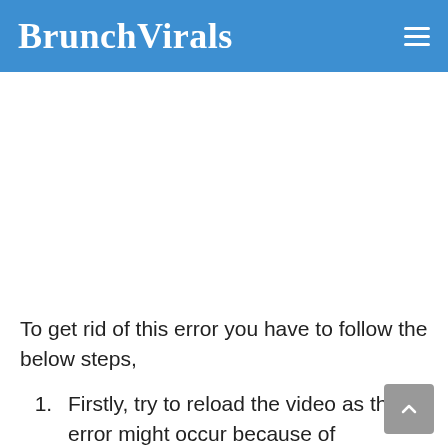BrunchVirals
To get rid of this error you have to follow the below steps,
Firstly, try to reload the video as the error might occur because of overloaded servers.